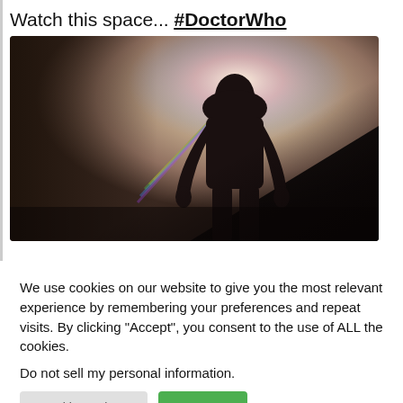Watch this space... #DoctorWho
[Figure (photo): Silhouette of a person standing backlit with a colorful lens flare/rainbow effect against a bright background, dark triangular shadow in lower right]
We use cookies on our website to give you the most relevant experience by remembering your preferences and repeat visits. By clicking “Accept”, you consent to the use of ALL the cookies.
Do not sell my personal information.
0 [comment icon] [Facebook] [Twitter] [LinkedIn] [Pinterest] [<] [scroll to top]